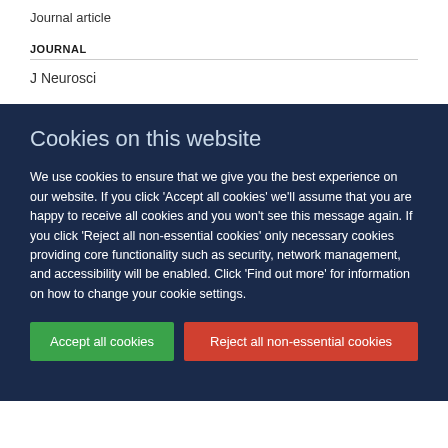Journal article
JOURNAL
J Neurosci
Cookies on this website
We use cookies to ensure that we give you the best experience on our website. If you click 'Accept all cookies' we'll assume that you are happy to receive all cookies and you won't see this message again. If you click 'Reject all non-essential cookies' only necessary cookies providing core functionality such as security, network management, and accessibility will be enabled. Click 'Find out more' for information on how to change your cookie settings.
Accept all cookies
Reject all non-essential cookies